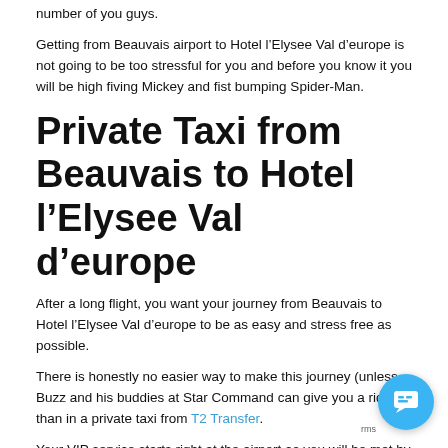number of you guys.
Getting from Beauvais airport to Hotel l’Elysee Val d’europe is not going to be too stressful for you and before you know it you will be high fiving Mickey and fist bumping Spider-Man.
Private Taxi from Beauvais to Hotel l’Elysee Val d’europe
After a long flight, you want your journey from Beauvais to Hotel l’Elysee Val d’europe to be as easy and stress free as possible.
There is honestly no easier way to make this journey (unless Buzz and his buddies at Star Command can give you a ride) than in a private taxi from T2 Transfer.
Your VIP service starts right at the airport as you will be met by your driver. They will have a sign that has your name so you can find them easily and then they will escort you your very own private, luxury taxi.
T2 Transfer only hires the best and most professional